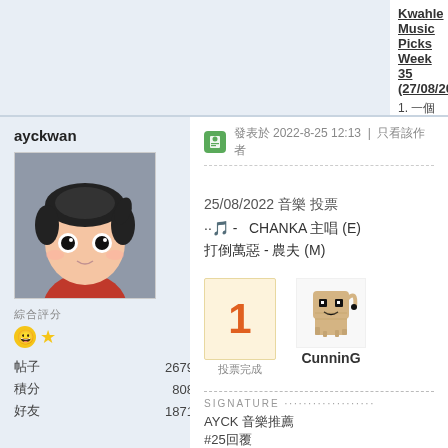Kwahle Music Picks Week 35 (27/08/2022)
1. 一個人的武林 - 張鑊聰   2. 憶年 - 謝安琪
4. 老派約會之必要 - 張天賦   5. 下流社會 - 陳靄
ayckwan
[Figure (illustration): Cartoon avatar of a character with black hair, pale skin, big round eyes, wearing a red shirt, on gray background]
綜合評分
帖子 2679
積分 808
好友 1871
發表於 2022-8-25 12:13 | 只看該作者
25/08/2022 音樂 投票
··🎵 -  CHANKA 主唱 (E)
打倒萬惡 - 農夫 (M)
1
[Figure (illustration): Pixel art sprite of Mimikyu Pokemon character]
投票完成
CunninG
SIGNATURE
AYCK 音樂推薦
#25回覆